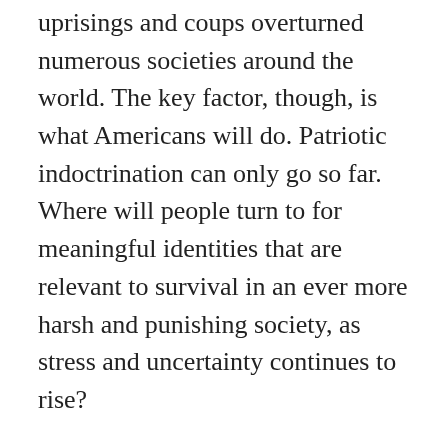uprisings and coups overturned numerous societies around the world. The key factor, though, is what Americans will do. Patriotic indoctrination can only go so far. Where will people turn to for meaningful identities that are relevant to survival in an ever more harsh and punishing society, as stress and uncertainty continues to rise?
Even if the American public doesn't turn against the system any time soon, when it comes under attack they might not feel in the mood to sacrifice themselves